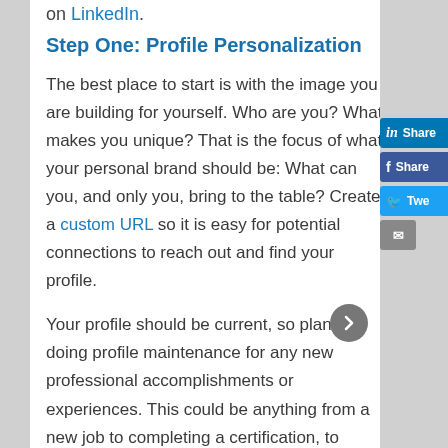on LinkedIn.
Step One: Profile Personalization
The best place to start is with the image you are building for yourself. Who are you? What makes you unique? That is the focus of what your personal brand should be: What can you, and only you, bring to the table? Create a custom URL so it is easy for potential connections to reach out and find your profile.
Your profile should be current, so plan on doing profile maintenance for any new professional accomplishments or experiences. This could be anything from a new job to completing a certification, to learning a new skill. Just as important as accurate information, you should also make sure your professional head shot and